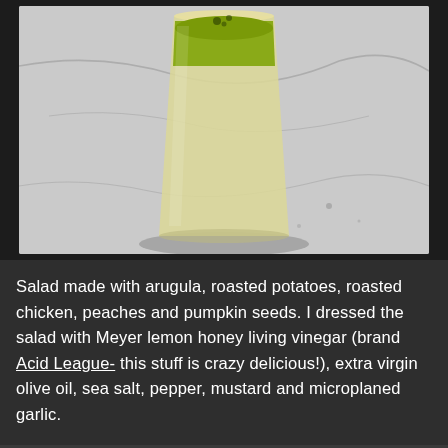[Figure (photo): A glass filled with a frothy green smoothie, viewed from above at a slight angle, sitting on a white marble surface with grey veining.]
Salad made with arugula, roasted potatoes, roasted chicken, peaches and pumpkin seeds. I dressed the salad with Meyer lemon honey living vinegar (brand Acid League- this stuff is crazy delicious!), extra virgin olive oil, sea salt, pepper, mustard and microplaned garlic.